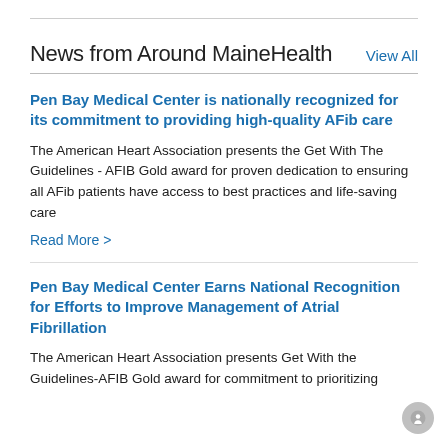News from Around MaineHealth   View All
Pen Bay Medical Center is nationally recognized for its commitment to providing high-quality AFib care
The American Heart Association presents the Get With The Guidelines - AFIB Gold award for proven dedication to ensuring all AFib patients have access to best practices and life-saving care
Read More >
Pen Bay Medical Center Earns National Recognition for Efforts to Improve Management of Atrial Fibrillation
The American Heart Association presents Get With the Guidelines-AFIB Gold award for commitment to prioritizing